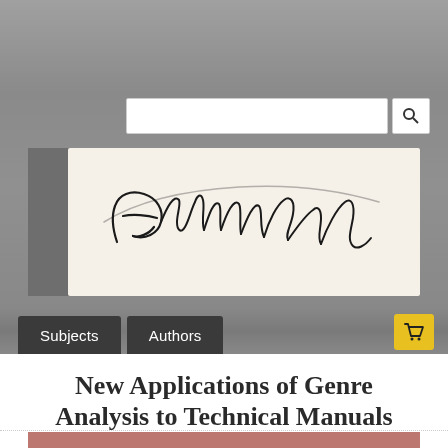[Figure (logo): Edwin Mellen Press handwritten cursive logo on cream/beige background]
Subjects  Authors
New Applications of Genre Analysis to Technical Manuals
[Figure (photo): Book cover in dusty rose/mauve color, partially visible at bottom of page]